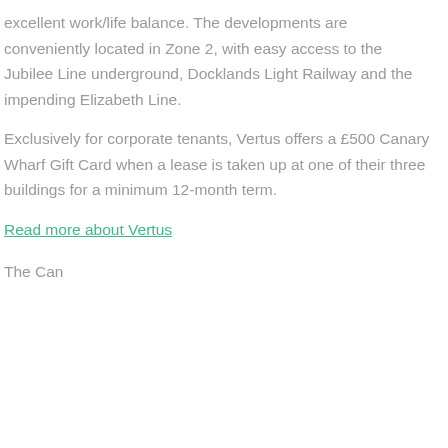excellent work/life balance. The developments are conveniently located in Zone 2, with easy access to the Jubilee Line underground, Docklands Light Railway and the impending Elizabeth Line.
Exclusively for corporate tenants, Vertus offers a £500 Canary Wharf Gift Card when a lease is taken up at one of their three buildings for a minimum 12-month term.
Read more about Vertus
The Cand...